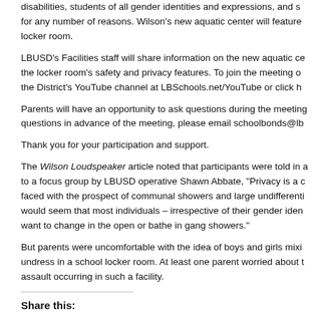disabilities, students of all gender identities and expressions, and s… for any number of reasons. Wilson's new aquatic center will feature locker room.
LBUSD's Facilities staff will share information on the new aquatic ce… the locker room's safety and privacy features. To join the meeting o… the District's YouTube channel at LBSchools.net/YouTube or click h…
Parents will have an opportunity to ask questions during the meeting… questions in advance of the meeting, please email schoolbonds@lb…
Thank you for your participation and support.
The Wilson Loudspeaker article noted that participants were told in a… to a focus group by LBUSD operative Shawn Abbate, "Privacy is a c… faced with the prospect of communal showers and large undifferenti… would seem that most individuals – irrespective of their gender iden… want to change in the open or bathe in gang showers."
But parents were uncomfortable with the idea of boys and girls mixi… undress in a school locker room. At least one parent worried about t… assault occurring in such a facility.
Share this:
Facebook
Twitter
Email
Reddit